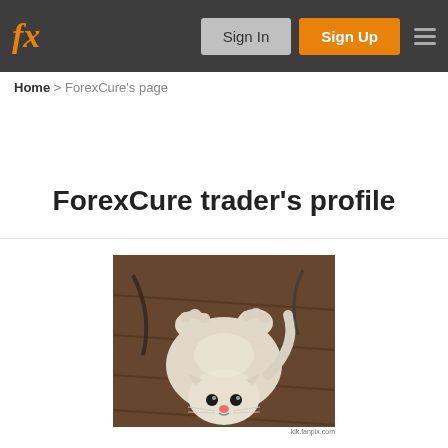fx | Sign In | Sign Up
Home > ForexCure's page
ForexCure trader's profile
[Figure (photo): Profile photo of a white cat lying on its back on a wooden floor, looking upward at the camera.]
ForexCure